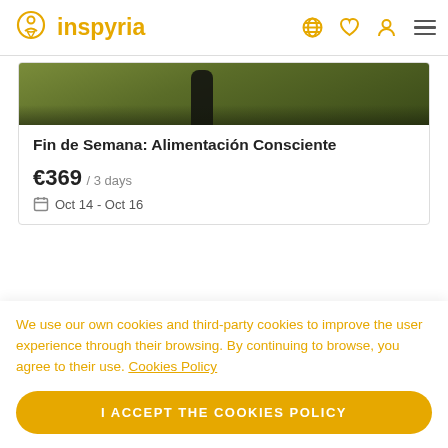inspyria
[Figure (photo): Green outdoor nature background with dark human silhouette]
Fin de Semana: Alimentación Consciente
€369 / 3 days
Oct 14 - Oct 16
We use our own cookies and third-party cookies to improve the user experience through their browsing. By continuing to browse, you agree to their use. Cookies Policy
I ACCEPT THE COOKIES POLICY